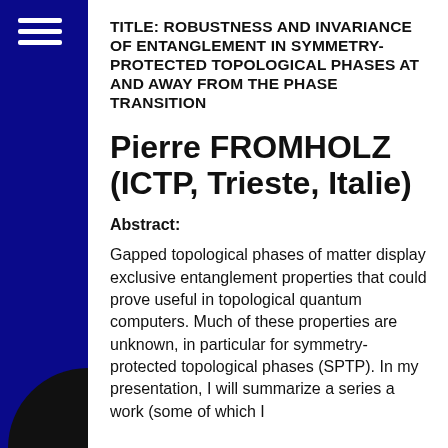TITLE: ROBUSTNESS AND INVARIANCE OF ENTANGLEMENT IN SYMMETRY-PROTECTED TOPOLOGICAL PHASES AT AND AWAY FROM THE PHASE TRANSITION
Pierre FROMHOLZ (ICTP, Trieste, Italie)
Abstract:
Gapped topological phases of matter display exclusive entanglement properties that could prove useful in topological quantum computers. Much of these properties are unknown, in particular for symmetry-protected topological phases (SPTP). In my presentation, I will summarize a series a work (some of which I